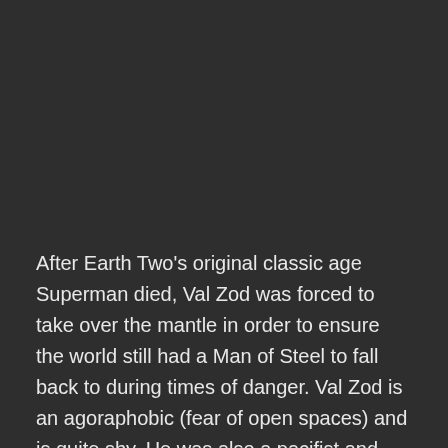After Earth Two's original classic age Superman died, Val Zod was forced to take over the mantle in order to ensure the world still had a Man of Steel to fall back to during times of danger. Val Zod is an agoraphobic (fear of open spaces) and is quite shy. He was also a pacifist and only fought when it was absolutely needed. Val Zod eventually overcame his agoraphobia to help save innocent lives as Earth 2's Man of Tomorrow. Val Zod also happens to be a genius. His level of intellect is comparable to Lex Luther